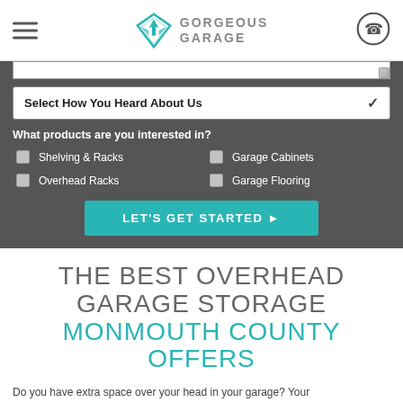[Figure (logo): Gorgeous Garage logo with teal geometric diamond-shaped G icon and gray uppercase text GORGEOUS GARAGE]
[Figure (screenshot): Web form section on dark gray background with textarea, dropdown 'Select How You Heard About Us', product checkboxes, and teal CTA button]
THE BEST OVERHEAD GARAGE STORAGE MONMOUTH COUNTY OFFERS
Do you have extra space over your head in your garage? Your